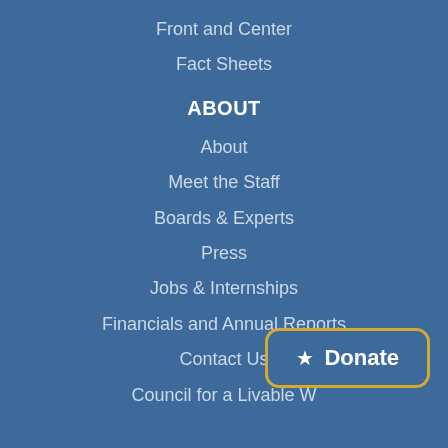Front and Center
Fact Sheets
ABOUT
About
Meet the Staff
Boards & Experts
Press
Jobs & Internships
Financials and Annual Reports
Contact Us
Council for a Livable W...
[Figure (other): Donate button with star icon, gold border, white text on blue background]